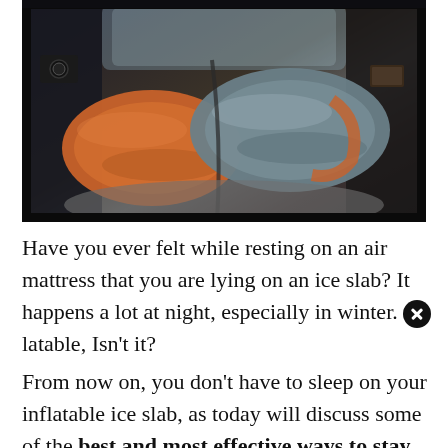[Figure (photo): Interior of a vehicle with two sleeping bags laid out side by side — one orange and one gray/teal — viewed from the footwell looking toward the rear window. Camera and other items visible on the sides.]
Have you ever felt while resting on an air mattress that you are lying on an ice slab? It happens a lot at night, especially in winter. [X]latable, Isn't it?
From now on, you don't have to sleep on your inflatable ice slab, as today will discuss some of the best and most effective ways to stay warm on an air